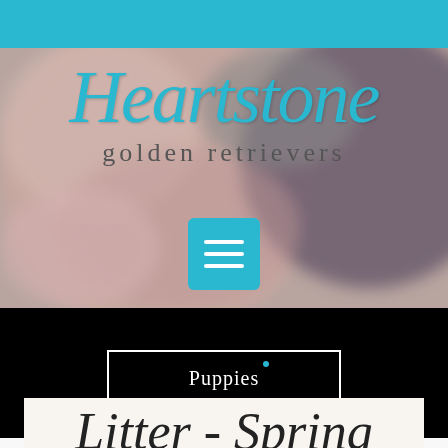[Figure (screenshot): Website screenshot of Heartstone Golden Retrievers. Top cyan bar, hero section with blurred dog photo background, Heartstone logo in cyan cursive script, 'golden retrievers' subtitle, cyan hamburger menu button, black band with white-bordered 'Puppies' button, and partial 'Litter - Spring' heading at bottom.]